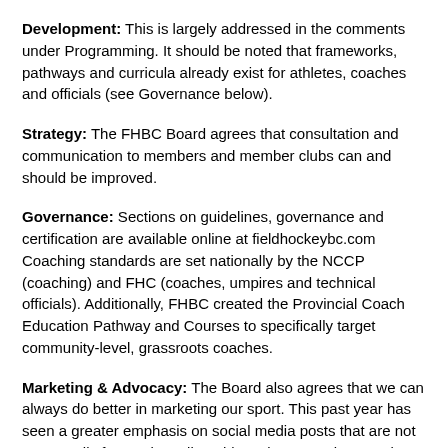Development: This is largely addressed in the comments under Programming. It should be noted that frameworks, pathways and curricula already exist for athletes, coaches and officials (see Governance below).
Strategy: The FHBC Board agrees that consultation and communication to members and member clubs can and should be improved.
Governance: Sections on guidelines, governance and certification are available online at fieldhockeybc.com Coaching standards are set nationally by the NCCP (coaching) and FHC (coaches, umpires and technical officials). Additionally, FHBC created the Provincial Coach Education Pathway and Courses to specifically target community-level, grassroots coaches.
Marketing & Advocacy: The Board also agrees that we can always do better in marketing our sport. This past year has seen a greater emphasis on social media posts that are not necessarily focused on elite athletes but everyday members, with an eye to driving more people to the main website and all aspects of field...